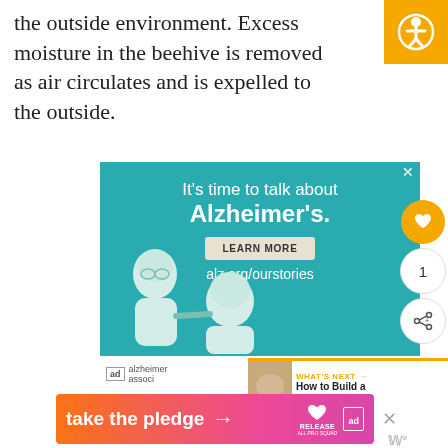the outside environment. Excess moisture in the beehive is removed as air circulates and is expelled to the outside.
[Figure (screenshot): Alzheimer's Association advertisement banner with teal background, text 'It's time to talk about Alzheimer's.', a LEARN MORE button, alz.org/ourstories URL, and illustrated characters of an elderly man and woman.]
[Figure (screenshot): 'What's Next' sidebar panel showing 'How to Build a Quilt Box for...' text with a thumbnail image.]
[Figure (screenshot): Bottom banner ad: 'take the pledge' with arrow, RELEASE logo, and ad label.]